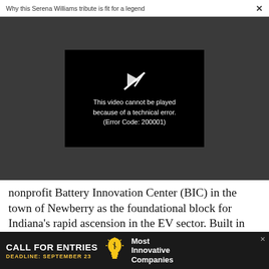Why this Serena Williams tribute is fit for a legend  ×
[Figure (screenshot): Video player showing error message on dark grey background. Black video box with broken play icon and text: This video cannot be played because of a technical error. (Error Code: 200001)]
nonprofit Battery Innovation Center (BIC) in the town of Newberry as the foundational block for Indiana's rapid ascension in the EV sector. Built in 2013, the facility—more than 30,000 square feet—draws workers from traditional manufacturers such
[Figure (infographic): Advertisement banner: CALL FOR ENTRIES — DEADLINE: SEPTEMBER 23 — lightbulb icon — Most Innovative Companies]